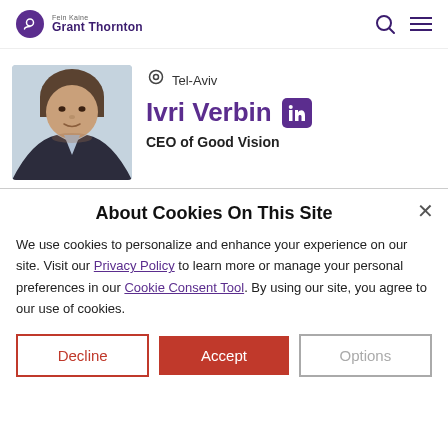Fein Kaine Grant Thornton
[Figure (photo): Profile photo of Ivri Verbin, a man in a dark blazer against a light background]
Tel-Aviv
Ivri Verbin
CEO of Good Vision
About Cookies On This Site
We use cookies to personalize and enhance your experience on our site. Visit our Privacy Policy to learn more or manage your personal preferences in our Cookie Consent Tool. By using our site, you agree to our use of cookies.
Decline | Accept | Options